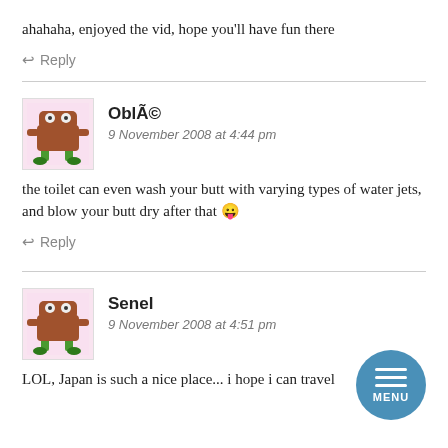ahahaha, enjoyed the vid, hope you'll have fun there
↩ Reply
OblÃ©
9 November 2008 at 4:44 pm
the toilet can even wash your butt with varying types of water jets, and blow your butt dry after that 😛
↩ Reply
Senel
9 November 2008 at 4:51 pm
LOL, Japan is such a nice place... i hope i can travel